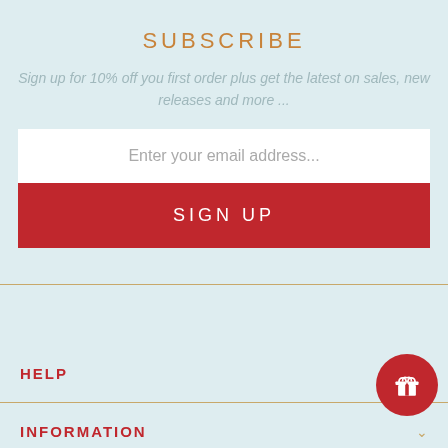SUBSCRIBE
Sign up for 10% off you first order plus get the latest on sales, new releases and more ...
Enter your email address...
SIGN UP
HELP
INFORMATION